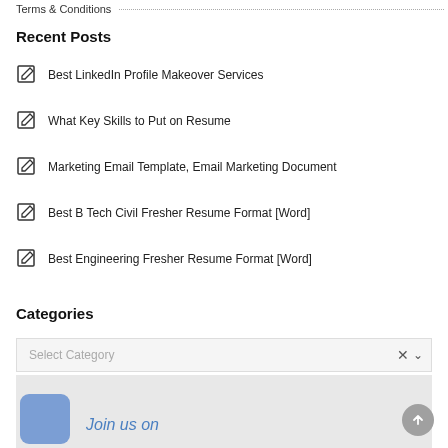Terms & Conditions
Recent Posts
Best LinkedIn Profile Makeover Services
What Key Skills to Put on Resume
Marketing Email Template, Email Marketing Document
Best B Tech Civil Fresher Resume Format [Word]
Best Engineering Fresher Resume Format [Word]
Categories
Select Category